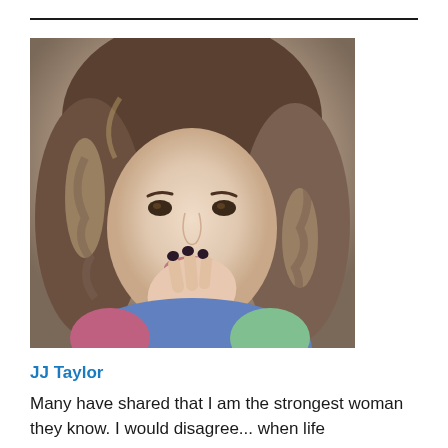[Figure (photo): Close-up portrait photo of a young woman with curly brown and blonde highlighted hair, holding her hand near her mouth with dark painted nails, wearing a colorful top]
JJ Taylor
Many have shared that I am the strongest woman they know. I would disagree... when life